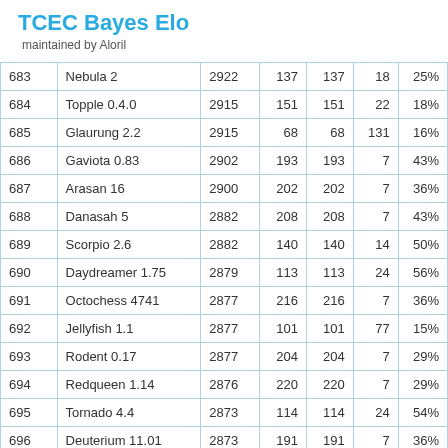TCEC Bayes Elo
maintained by Aloril
| 683 | Nebula 2 | 2922 | 137 | 137 | 18 | 25% |
| 684 | Topple 0.4.0 | 2915 | 151 | 151 | 22 | 18% |
| 685 | Glaurung 2.2 | 2915 | 68 | 68 | 131 | 16% |
| 686 | Gaviota 0.83 | 2902 | 193 | 193 | 7 | 43% |
| 687 | Arasan 16 | 2900 | 202 | 202 | 7 | 36% |
| 688 | Danasah 5 | 2882 | 208 | 208 | 7 | 43% |
| 689 | Scorpio 2.6 | 2882 | 140 | 140 | 14 | 50% |
| 690 | Daydreamer 1.75 | 2879 | 113 | 113 | 24 | 56% |
| 691 | Octochess 4741 | 2877 | 216 | 216 | 7 | 36% |
| 692 | Jellyfish 1.1 | 2877 | 101 | 101 | 77 | 15% |
| 693 | Rodent 0.17 | 2877 | 204 | 204 | 7 | 29% |
| 694 | Redqueen 1.14 | 2876 | 220 | 220 | 7 | 29% |
| 695 | Tornado 4.4 | 2873 | 114 | 114 | 24 | 54% |
| 696 | Deuterium 11.01 | 2873 | 191 | 191 | 7 | 36% |